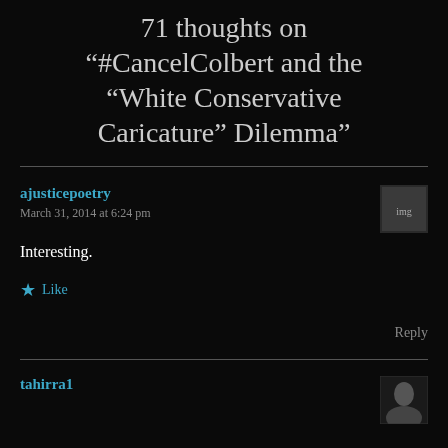71 thoughts on “#CancelColbert and the “White Conservative Caricature” Dilemma”
ajusticepoetry
March 31, 2014 at 6:24 pm
Interesting.
Like
Reply
tahirra1